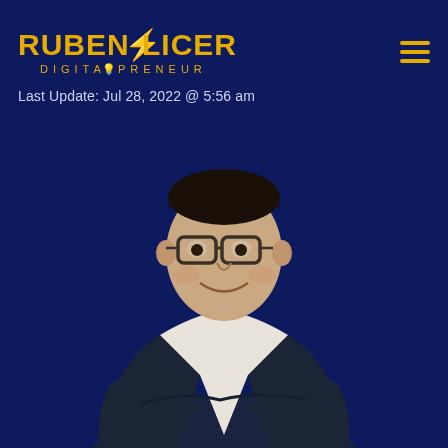RUBEN OLICERA DIGITALPRENEUR
Last Update: Jul 28, 2022 @ 5:56 am
[Figure (photo): Professional headshot photo of Ruben Olicera, a man wearing glasses and a dark suit jacket over a white patterned shirt, arms crossed, smiling, on a dark navy blue background]